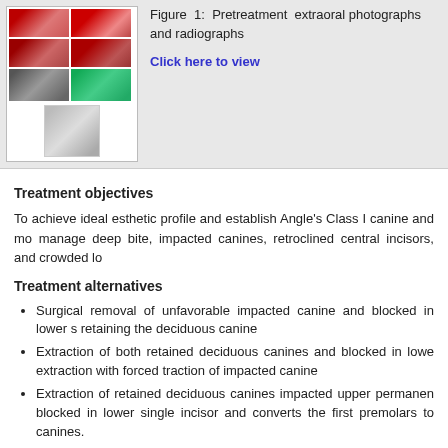[Figure (photo): Collage of dental photographs and radiographs including intraoral photos (upper and lower arches), panoramic X-ray, green-tinted occlusal view, and lateral skull cephalometric radiograph]
Figure 1: Pretreatment extraoral photographs and radiographs
Click here to view
Treatment objectives
To achieve ideal esthetic profile and establish Angle's Class I canine and mo manage deep bite, impacted canines, retroclined central incisors, and crowded lo
Treatment alternatives
Surgical removal of unfavorable impacted canine and blocked in lower s retaining the deciduous canine
Extraction of both retained deciduous canines and blocked in lowe extraction with forced traction of impacted canine
Extraction of retained deciduous canines impacted upper permanen blocked in lower single incisor and converts the first premolars to canines.
Treatment progress